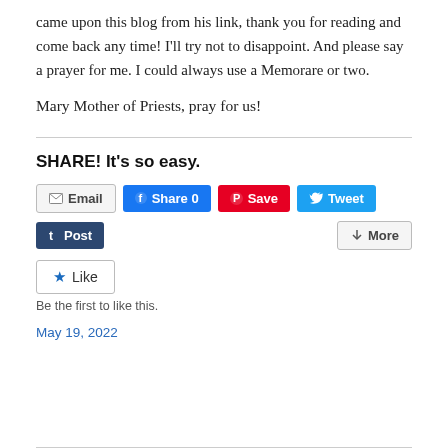came upon this blog from his link, thank you for reading and come back any time! I'll try not to disappoint. And please say a prayer for me. I could always use a Memorare or two.
Mary Mother of Priests, pray for us!
SHARE! It's so easy.
[Figure (other): Social share buttons: Email, Share 0 (Facebook), Save (Pinterest), Tweet (Twitter), Post (Tumblr), More]
[Figure (other): Like button with star icon]
Be the first to like this.
May 19, 2022